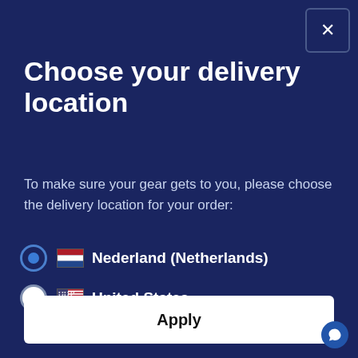Choose your delivery location
To make sure your gear gets to you, please choose the delivery location for your order:
Nederland (Netherlands)
United States
View all available locations
Apply